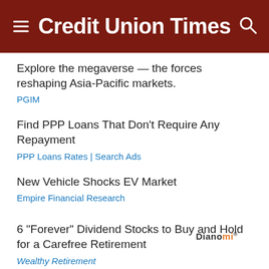Credit Union Times
Explore the megaverse — the forces reshaping Asia-Pacific markets.
PGIM
Find PPP Loans That Don't Require Any Repayment
PPP Loans Rates | Search Ads
New Vehicle Shocks EV Market
Empire Financial Research
6 "Forever" Dividend Stocks to Buy and Hold for a Carefree Retirement
Wealthy Retirement
Dianomi